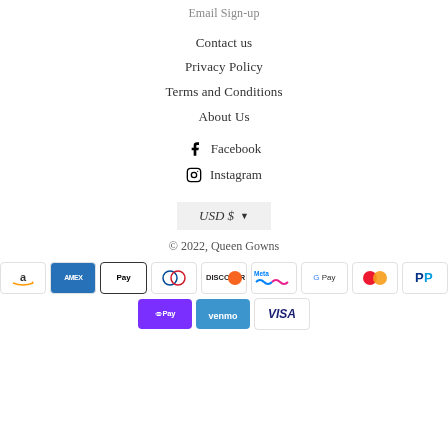Email Sign-up
Contact us
Privacy Policy
Terms and Conditions
About Us
Facebook
Instagram
USD $
© 2022, Queen Gowns
[Figure (other): Payment method icons: Amazon, American Express, Apple Pay, Diners Club, Discover, Meta Pay, Google Pay, Mastercard, PayPal, Shop Pay, Venmo, Visa]